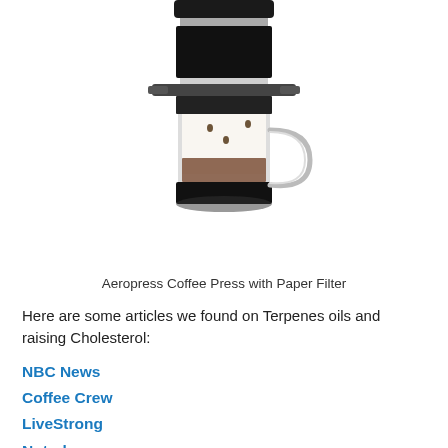[Figure (photo): An Aeropress Coffee Press with a paper filter, showing the cylindrical glass body with coffee being pressed through, a handle on the right side, and dark coffee grounds/filter at top and bottom.]
Aeropress Coffee Press with Paper Filter
Here are some articles we found on Terpenes oils and raising Cholesterol:
NBC News
Coffee Crew
LiveStrong
Nutralegacy